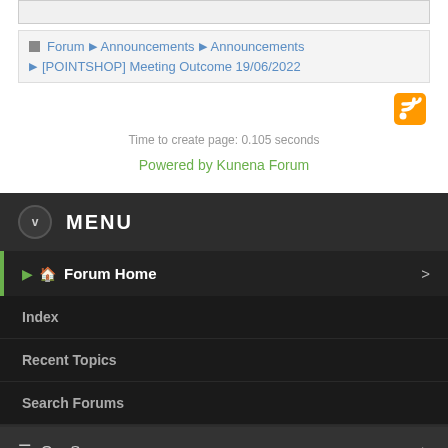Forum ▶ Announcements ▶ Announcements
[POINTSHOP] Meeting Outcome 19/06/2022
[Figure (illustration): RSS feed icon in orange]
Time to create page: 0.105 seconds
Powered by Kunena Forum
MENU
Forum Home
Index
Recent Topics
Search Forums
Our Servers